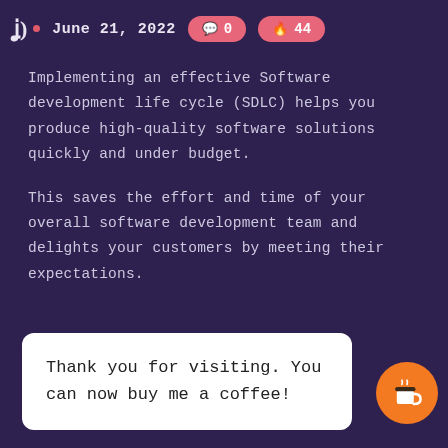June 21, 2022  0  44
Implementing an effective Software development life cycle (SDLC) helps you produce high-quality software solutions quickly and under budget.
This saves the effort and time of your overall software development team and delights your customers by meeting their expectations.
Thank you for visiting. You can now buy me a coffee!